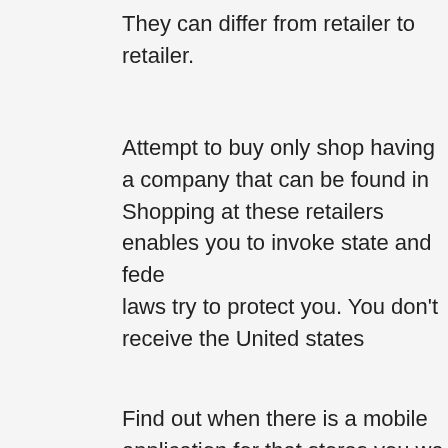They can differ from retailer to retailer.
Attempt to buy only shop having a company that can be found in Shopping at these retailers enables you to invoke state and fede laws try to protect you. You don't receive the United states
Find out when there is a mobile application for that stores you wa valuable in several reasons. It is possible to look through produc deals when you wait with your doctor's waiting room or while you repaired.
Try to only shop having a company which can be based in the U state consumer protection laws apply while shopping with one of get similar protections when purchasing products based beyond